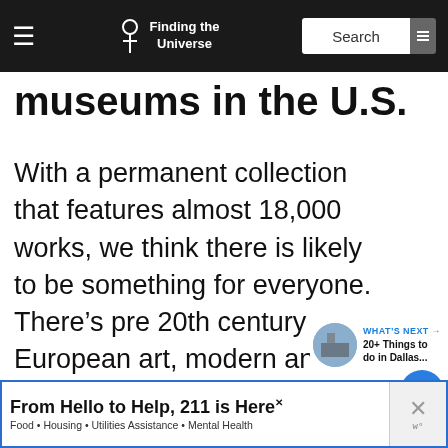Finding the Universe
museums in the U.S.
With a permanent collection that features almost 18,000 works, we think there is likely to be something for everyone. There’s pre 20th century European art, modern and contemporary art from around the globe, and a large collection of Latin American art.
WHAT’S NEXT → 20+ Things to do in Dallas...
From Hello to Help, 211 is Here
Food • Housing • Utilities Assistance • Mental Health